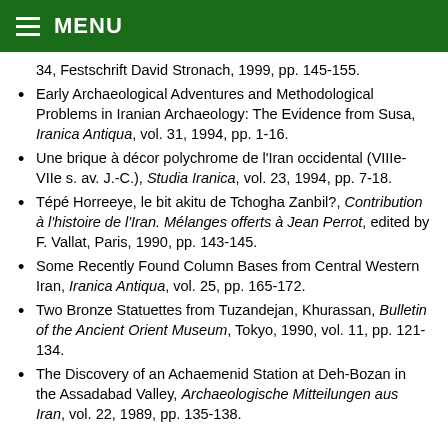MENU
34, Festschrift David Stronach, 1999, pp. 145-155.
Early Archaeological Adventures and Methodological Problems in Iranian Archaeology: The Evidence from Susa, Iranica Antiqua, vol. 31, 1994, pp. 1-16.
Une brique à décor polychrome de l'Iran occidental (VIIIe-VIIe s. av. J.-C.), Studia Iranica, vol. 23, 1994, pp. 7-18.
Tépé Horreeye, le bit akitu de Tchogha Zanbil?, Contribution à l'histoire de l'Iran. Mélanges offerts à Jean Perrot, edited by F. Vallat, Paris, 1990, pp. 143-145.
Some Recently Found Column Bases from Central Western Iran, Iranica Antiqua, vol. 25, pp. 165-172.
Two Bronze Statuettes from Tuzandejan, Khurassan, Bulletin of the Ancient Orient Museum, Tokyo, 1990, vol. 11, pp. 121-134.
The Discovery of an Achaemenid Station at Deh-Bozan in the Assadabad Valley, Archaeologische Mitteilungen aus Iran, vol. 22, 1989, pp. 135-138.